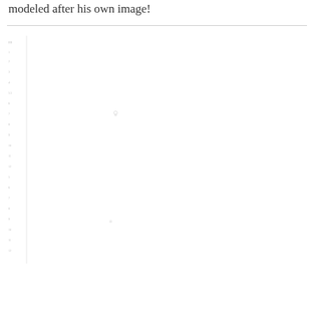modeled after his own image!
[Figure (other): A faint, mostly blank page fragment showing a very light vertical list or chart with barely visible small text labels along the left side and a couple of faint dot markers in the interior. The content is extremely low contrast and largely illegible.]